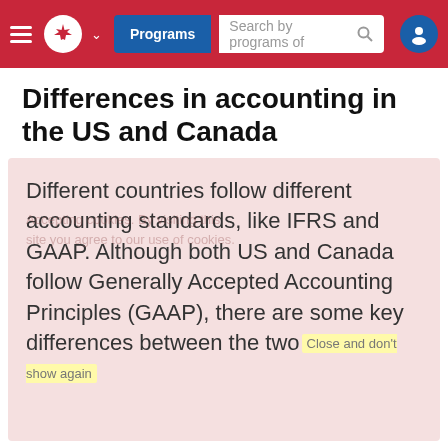Programs  Search by programs of
Differences in accounting in the US and Canada
Different countries follow different accounting standards, like IFRS and GAAP. Although both US and Canada follow Generally Accepted Accounting Principles (GAAP), there are some key differences between the two.
Most of the variations exist in the